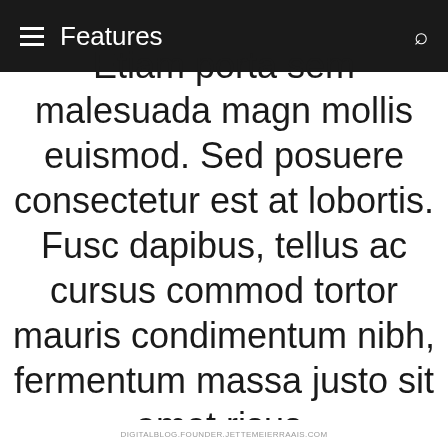Features
Etiam porta sem malesuada magna mollis euismod. Sed posuere consectetur est at lobortis. Fusc dapibus, tellus ac cursus commod tortor mauris condimentum nibh, fermentum massa justo sit amet risus.
DIGITALBLOG.FOUNDER.JETTEMEIERRAAIS.COM